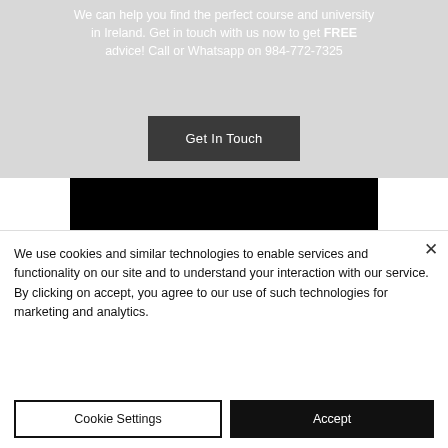We can help you find the perfect course and university in Ireland. Get in touch with us now to get FREE advice! Call or Whatsapp on 984-772-7325
[Figure (other): Dark button labeled 'Get In Touch']
[Figure (other): Black rectangle section with contact numbers: Tel. 984-772-7325 and Tel. 884-815-7601]
We use cookies and similar technologies to enable services and functionality on our site and to understand your interaction with our service. By clicking on accept, you agree to our use of such technologies for marketing and analytics.
[Figure (other): Cookie settings and Accept buttons]